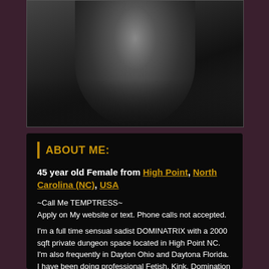[Figure (photo): Black and white artistic photograph of a woman in a dark setting]
ABOUT ME:
45 year old Female from High Point, North Carolina (NC), USA
~Call Me TEMPTRESS~
Apply on My website or text. Phone calls not accepted.
I'm a full time sensual sadist DOMINATRIX with a 2000 sqft private dungeon space located in High Point NC. I'm also frequently in Dayton Ohio and Daytona Florida. I have been doing professional Fetish, Kink, Domination and BDSM sessions